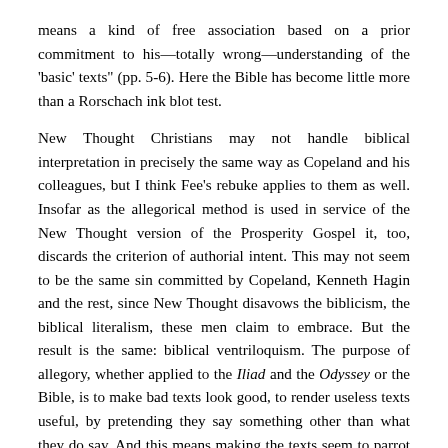means a kind of free association based on a prior commitment to his—totally wrong—understanding of the 'basic' texts" (pp. 5-6). Here the Bible has become little more than a Rorschach ink blot test.
New Thought Christians may not handle biblical interpretation in precisely the same way as Copeland and his colleagues, but I think Fee's rebuke applies to them as well. Insofar as the allegorical method is used in service of the New Thought version of the Prosperity Gospel it, too, discards the criterion of authorial intent. This may not seem to be the same sin committed by Copeland, Kenneth Hagin and the rest, since New Thought disavows the biblicism, the biblical literalism, these men claim to embrace. But the result is the same: biblical ventriloquism. The purpose of allegory, whether applied to the Iliad and the Odyssey or the Bible, is to make bad texts look good, to render useless texts useful, by pretending they say something other than what they do say. And this means making the texts seem to parrot our doctrines, which we proceed to read into them, not out of them.